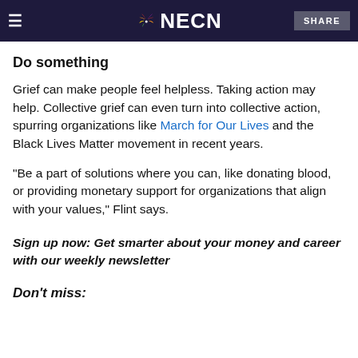NECN — SHARE
Do something
Grief can make people feel helpless. Taking action may help. Collective grief can even turn into collective action, spurring organizations like March for Our Lives and the Black Lives Matter movement in recent years.
"Be a part of solutions where you can, like donating blood, or providing monetary support for organizations that align with your values," Flint says.
Sign up now: Get smarter about your money and career with our weekly newsletter
Don't miss: